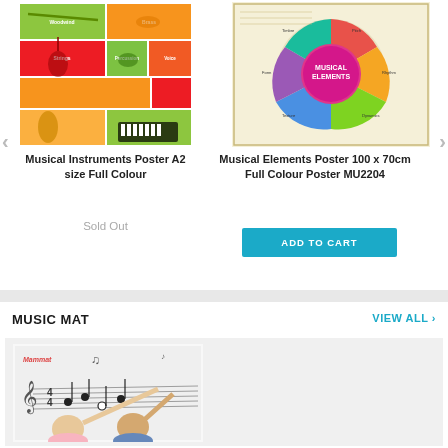[Figure (illustration): Musical Instruments Poster A2 size Full Colour - colorful educational poster showing various musical instruments categorized by type]
Musical Instruments Poster A2 size Full Colour
Sold Out
[Figure (illustration): Musical Elements Poster 100 x 70cm Full Colour Poster MU2204 - circular diagram showing musical elements]
Musical Elements Poster 100 x 70cm Full Colour Poster MU2204
ADD TO CART
MUSIC MAT
VIEW ALL >
[Figure (photo): Two children interacting with a large music mat on the floor showing musical notation/sheet music - Mammat branded product]